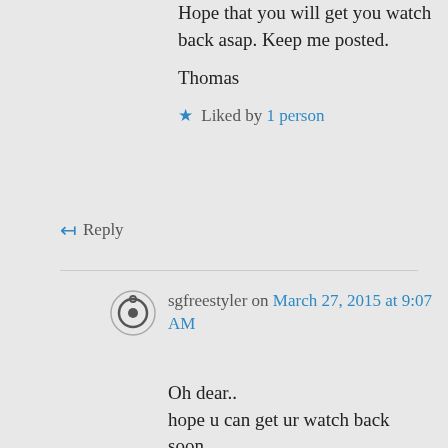Hope that you will get you watch back asap. Keep me posted.
Thomas
Liked by 1 person
Reply
sgfreestyler on March 27, 2015 at 9:07 AM
Oh dear..
hope u can get ur watch back soon…
I didnt know Acube is closed until i went down to peninsula ytd..
i had brought 2 watches from him..